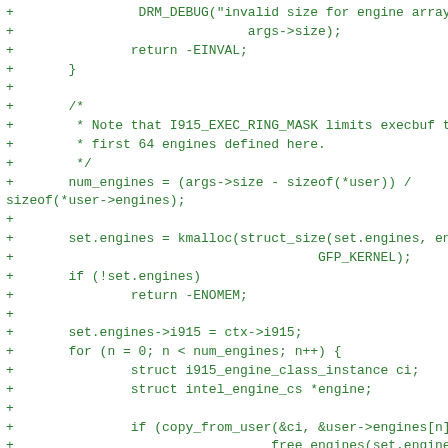+                DRM_DEBUG("invalid size for engine array: %d\n",
+                              args->size);
+               return -EINVAL;
+       }
+
+       /*
+        * Note that I915_EXEC_RING_MASK limits execbuf to only using the
+        * first 64 engines defined here.
+        */
+       num_engines = (args->size - sizeof(*user)) /
sizeof(*user->engines);
+
+       set.engines = kmalloc(struct_size(set.engines, engines, num_engines),
+                                       GFP_KERNEL);
+       if (!set.engines)
+               return -ENOMEM;
+
+       set.engines->i915 = ctx->i915;
+       for (n = 0; n < num_engines; n++) {
+               struct i915_engine_class_instance ci;
+               struct intel_engine_cs *engine;
+
+               if (copy_from_user(&ci, &user->engines[n], sizeof(ci))) {
+                               __free_engines(set.engines, n);
+                       return -EFAULT;
+               }
+